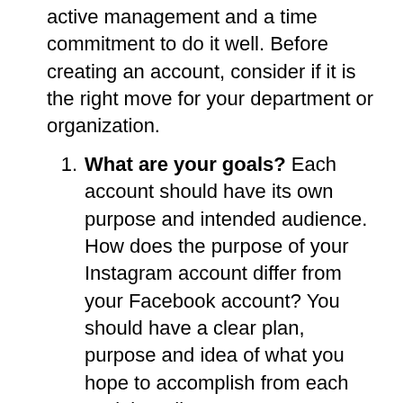active management and a time commitment to do it well. Before creating an account, consider if it is the right move for your department or organization.
What are your goals? Each account should have its own purpose and intended audience. How does the purpose of your Instagram account differ from your Facebook account? You should have a clear plan, purpose and idea of what you hope to accomplish from each social media account.
Could you benefit from a partnership or collaboration with other on-campus